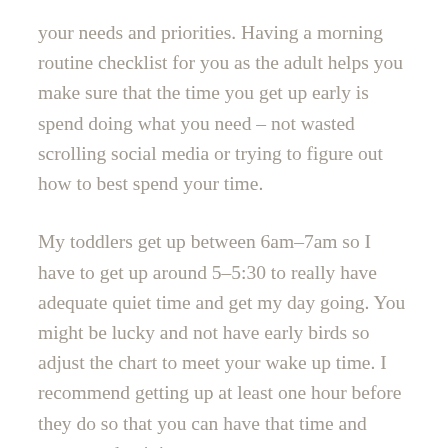your needs and priorities. Having a morning routine checklist for you as the adult helps you make sure that the time you get up early is spend doing what you need – not wasted scrolling social media or trying to figure out how to best spend your time.
My toddlers get up between 6am–7am so I have to get up around 5–5:30 to really have adequate quiet time and get my day going. You might be lucky and not have early birds so adjust the chart to meet your wake up time. I recommend getting up at least one hour before they do so that you can have that time and some productivity.